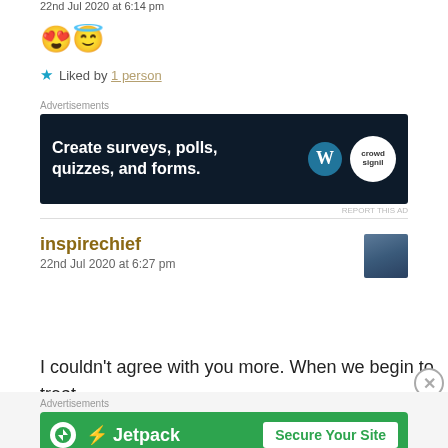22nd Jul 2020 at 6:14 pm
[Figure (illustration): Two emoji faces: smiling face with hearts and smiling face with halo]
★ Liked by 1 person
Advertisements
[Figure (screenshot): Advertisement banner with dark navy background. Text: 'Create surveys, polls, quizzes, and forms.' with WordPress and Crowdsignal logos on the right.]
REPORT THIS AD
inspirechief
22nd Jul 2020 at 6:27 pm
I couldn't agree with you more. When we begin to treat
Advertisements
[Figure (screenshot): Jetpack advertisement banner with green background. Shows Jetpack logo on left and 'Secure Your Site' button on right.]
REPORT THIS AD